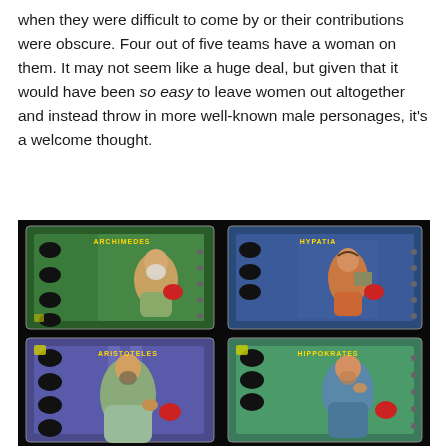when they were difficult to come by or their contributions were obscure. Four out of five teams have a woman on them. It may not seem like a huge deal, but given that it would have been so easy to leave women out altogether and instead throw in more well-known male personages, it's a welcome thought.
[Figure (photo): Photo of four board game character cards laid on a dark surface: Archimedes (top-left), Hypatia (top-right), Aristoteles (bottom-left), and Hippokrates (bottom-right). Each card shows an illustrated ancient Greek figure with game tokens and symbols.]